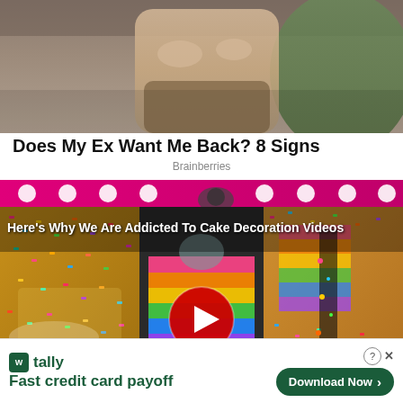[Figure (photo): Partial photo of a person sitting, torso and hands visible, muted warm tones]
Does My Ex Want Me Back? 8 Signs
Brainberries
[Figure (screenshot): Video thumbnail collage showing colorful sprinkle-covered and rainbow-layered cakes with a red play button overlay, title reads: Here's Why We Are Addicted To Cake Decoration Videos]
[Figure (infographic): Advertisement banner for Tally app: Fast credit card payoff, with Download Now button]